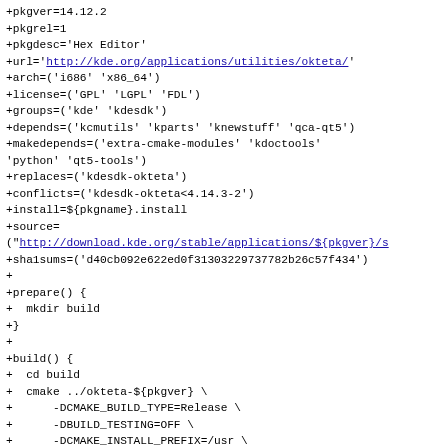+pkgver=14.12.2
+pkgrel=1
+pkgdesc='Hex Editor'
+url='http://kde.org/applications/utilities/okteta/'
+arch=('i686' 'x86_64')
+license=('GPL' 'LGPL' 'FDL')
+groups=('kde' 'kdesdk')
+depends=('kcmutils' 'kparts' 'knewstuff' 'qca-qt5')
+makedepends=('extra-cmake-modules' 'kdoctools'
'python' 'qt5-tools')
+replaces=('kdesdk-okteta')
+conflicts=('kdesdk-okteta<4.14.3-2')
+install=${pkgname}.install
+source=
("http://download.kde.org/stable/applications/${pkgver}/s
+sha1sums=('d40cb092e622ed0f31303229737782b26c57f434')
+
+prepare() {
+  mkdir build
+}
+
+build() {
+  cd build
+  cmake ../okteta-${pkgver} \
+      -DCMAKE_BUILD_TYPE=Release \
+      -DBUILD_TESTING=OFF \
+      -DCMAKE_INSTALL_PREFIX=/usr \
+      -DCMAKE_INSTALL_LIBDIR=lib \
+      -DSYSCONF_INSTALL_DIR=/etc \
+      -DKDE_INSTALL_USE_QT_SYS_PATHS=ON